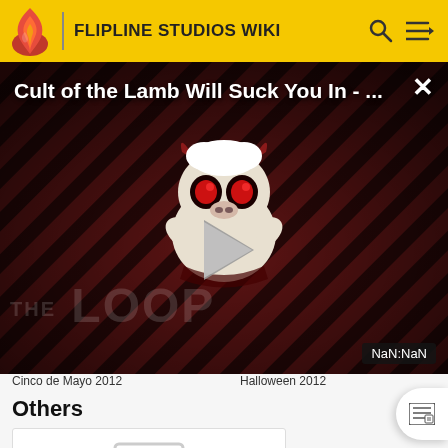FLIPLINE STUDIOS WIKI
[Figure (screenshot): Video overlay showing 'Cult of the Lamb Will Suck You In - ...' with a dark diagonal stripe background, a cartoon mascot character (the Loop), a play button, and NaN:NaN timestamp. Close button (X) in top right.]
Cinco de Mayo 2012
Halloween 2012
Others
[Figure (photo): Image placeholder card with grey border and image icon]